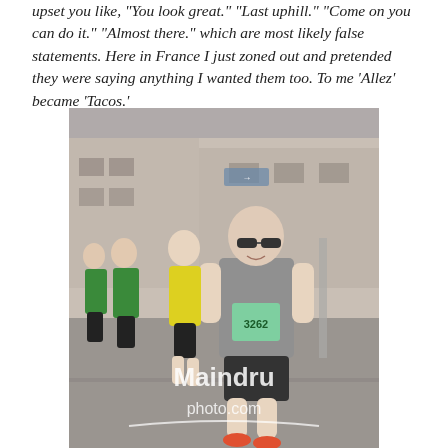upset you like, "You look great." "Last uphill." "Come on you can do it." "Almost there." which are most likely false statements. Here in France I just zoned out and pretended they were saying anything I wanted them too. To me 'Allez' became 'Tacos.'
[Figure (photo): A marathon race photo showing multiple runners on a city street in France. The foreground runner is a bald man wearing sunglasses, a grey t-shirt, and a race bib numbered 3262. Other runners visible behind him include athletes in green and yellow attire. A watermark reads 'Maindru photo.com' overlaid on the bottom portion of the image.]